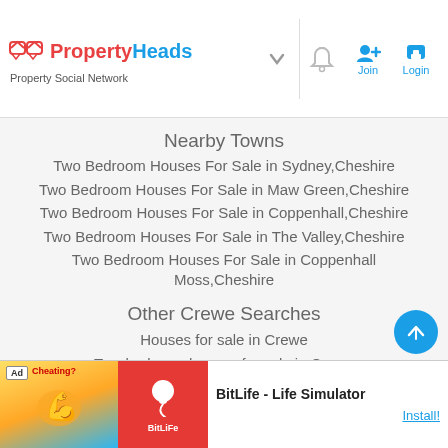PropertyHeads — Property Social Network | bell icon | Join | Login
Nearby Towns
Two Bedroom Houses For Sale in Sydney,Cheshire
Two Bedroom Houses For Sale in Maw Green,Cheshire
Two Bedroom Houses For Sale in Coppenhall,Cheshire
Two Bedroom Houses For Sale in The Valley,Cheshire
Two Bedroom Houses For Sale in Coppenhall Moss,Cheshire
Other Crewe Searches
Houses for sale in Crewe
Two bedroom houses for sale in Crewe
Three bedroom houses for sale in Crewe
[Figure (screenshot): Ad banner: BitLife - Life Simulator app advertisement with Install button]